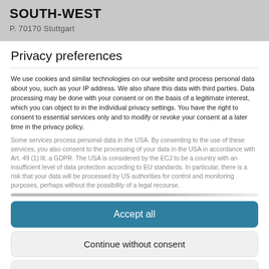SOUTH-WEST
P. 70170 Stuttgart
Privacy preferences
We use cookies and similar technologies on our website and process personal data about you, such as your IP address. We also share this data with third parties. Data processing may be done with your consent or on the basis of a legitimate interest, which you can object to in the individual privacy settings. You have the right to consent to essential services only and to modify or revoke your consent at a later time in the privacy policy.
Some services process personal data in the USA. By consenting to the use of these services, you also consent to the processing of your data in the USA in accordance with Art. 49 (1) lit. a GDPR. The USA is considered by the ECJ to be a country with an insufficient level of data protection according to EU standards. In particular, there is a risk that your data will be processed by US authorities for control and monitoring purposes, perhaps without the possibility of a legal recourse.
Accept all
Continue without consent
Save custom choices
Individual privacy preferences
Privacy policy • Imprint • Cookie Consent Banner by Real Cookie Banner